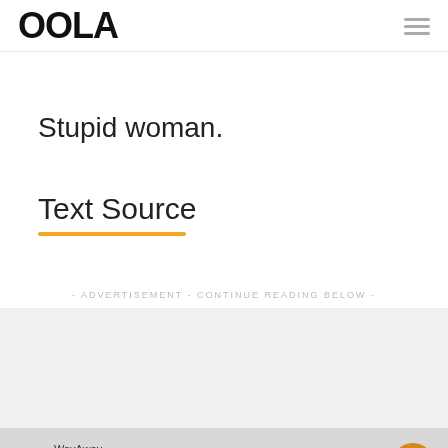OOLA
Stupid woman.
Text Source
- ADVERTISEMENT - CONTINUE READING BELOW -
[Figure (screenshot): WayAway advertisement banner: logo circle, 'WayAway' brand name, 'It's cashback' headline, 'Get more from your trip with WayAway' subtext, decorative pizza illustration with 'is this pizzaback?' handwritten text]